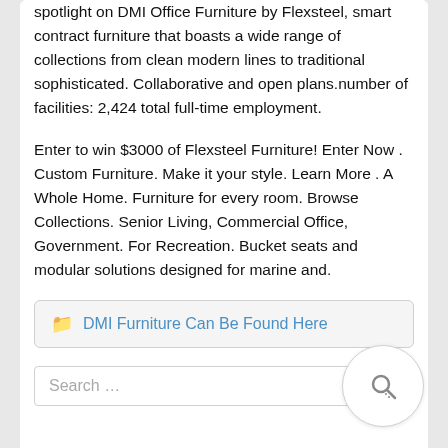spotlight on DMI Office Furniture by Flexsteel, smart contract furniture that boasts a wide range of collections from clean modern lines to traditional sophisticated. Collaborative and open plans.number of facilities: 2,424 total full-time employment.
Enter to win $3000 of Flexsteel Furniture! Enter Now . Custom Furniture. Make it your style. Learn More . A Whole Home. Furniture for every room. Browse Collections. Senior Living, Commercial Office, Government. For Recreation. Bucket seats and modular solutions designed for marine and.
DMI Furniture Can Be Found Here
Search …